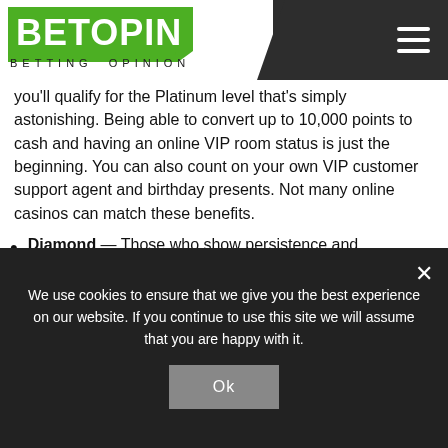BETOPIN BETTING OPINION
you'll qualify for the Platinum level that's simply astonishing. Being able to convert up to 10,000 points to cash and having an online VIP room status is just the beginning. You can also count on your own VIP customer support agent and birthday presents. Not many online casinos can match these benefits.
Diamond — Those who show persistence and endurance can eventually reach the Diamond VIP level. They're going to need at least 10,000 points to qualify
We use cookies to ensure that we give you the best experience on our website. If you continue to use this site we will assume that you are happy with it.